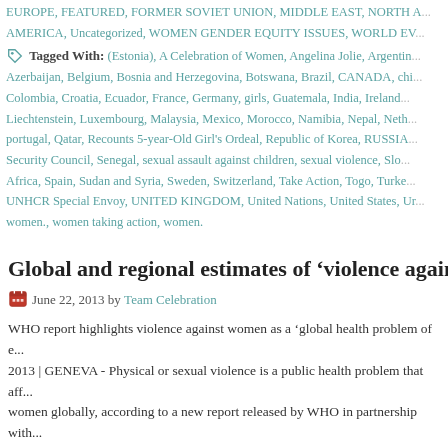EUROPE, FEATURED, FORMER SOVIET UNION, MIDDLE EAST, NORTH AMERICA, Uncategorized, WOMEN GENDER EQUITY ISSUES, WORLD EV...
Tagged With: (Estonia), A Celebration of Women, Angelina Jolie, Argentina, Azerbaijan, Belgium, Bosnia and Herzegovina, Botswana, Brazil, CANADA, chi..., Colombia, Croatia, Ecuador, France, Germany, girls, Guatemala, India, Ireland..., Liechtenstein, Luxembourg, Malaysia, Mexico, Morocco, Namibia, Nepal, Neth..., portugal, Qatar, Recounts 5-year-Old Girl's Ordeal, Republic of Korea, RUSSIA..., Security Council, Senegal, sexual assault against children, sexual violence, Slo..., Africa, Spain, Sudan and Syria, Sweden, Switzerland, Take Action, Togo, Turke..., UNHCR Special Envoy, UNITED KINGDOM, United Nations, United States, Ur..., women., women taking action, women.
Global and regional estimates of 'violence against wo...
June 22, 2013 by Team Celebration
WHO report highlights violence against women as a 'global health problem of e... 2013 | GENEVA - Physical or sexual violence is a public health problem that aff... women globally, according to a new report released by WHO in partnership with... & Tropical Medicine and the South African Medical Research Council. The repo... estimates of 'violence against women': Prevalence and health ... [Read more...]
Filed Under: AFRICA, ASIA, CA-- USES, CARIBBEAN, CENTRAL AMERIC..., FORMER SOVIET UNION, MIDDLE EAST, NORTH AMERICA, OCEANIC...